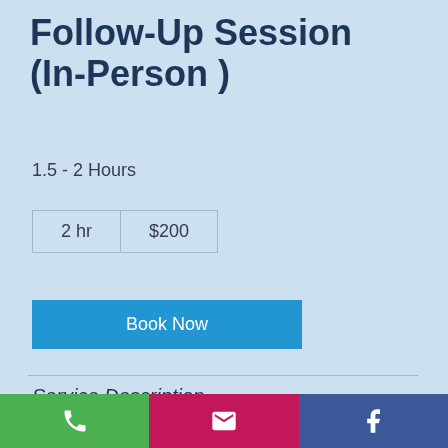Follow-Up Session (In-Person )
1.5 - 2 Hours
| 2 hr | $200 |
Book Now
Service Description
Follow-up reiki sessions may include